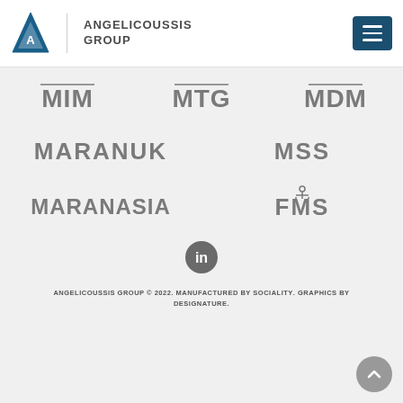Angelicoussis Group
[Figure (logo): MIM company logo in dark gray bold letters]
[Figure (logo): MTG company logo in dark gray bold letters]
[Figure (logo): MDM company logo in dark gray bold letters]
[Figure (logo): MARANUK company logo in dark gray bold letters]
[Figure (logo): MSS company logo in dark gray bold letters]
[Figure (logo): MARANASIA company logo in dark gray bold letters]
[Figure (logo): FMS company logo with anchor icon in dark gray bold letters]
[Figure (logo): LinkedIn social media icon, circular dark gray button]
ANGELICOUSSIS GROUP © 2022. MANUFACTURED BY SOCIALITY. GRAPHICS BY DESIGNATURE.